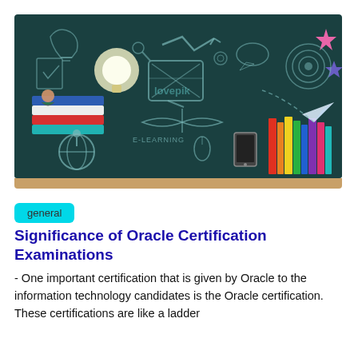[Figure (illustration): Educational banner illustration: dark teal chalkboard background with cartoon-style drawings of a lightbulb, books, globe, e-learning icons, a monitor/TV, a paper airplane with dashed trail, colorful books on a shelf, and a small student figure. 'lovepik' watermark visible in the center.]
general
Significance of Oracle Certification Examinations
- One important certification that is given by Oracle to the information technology candidates is the Oracle certification. These certifications are like a ladder